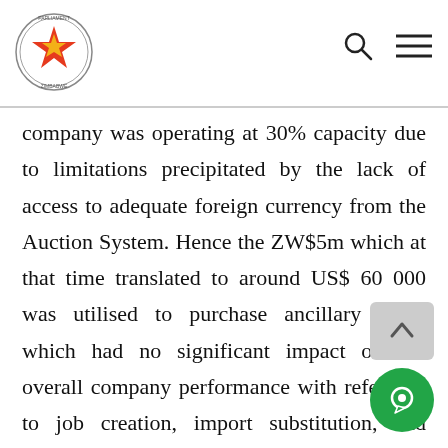[Parliament of Zimbabwe logo] [search icon] [menu icon]
company was operating at 30% capacity due to limitations precipitated by the lack of access to adequate foreign currency from the Auction System. Hence the ZW$5m which at that time translated to around US$ 60 000 was utilised to purchase ancillary items which had no significant impact on the overall company performance with reference to job creation, import substitution, and exports.